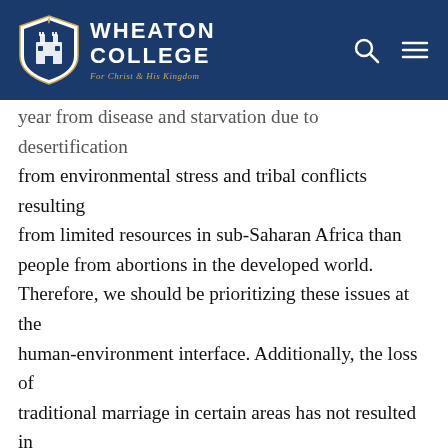Wheaton College — For Christ and His Kingdom
year from disease and starvation due to desertification from environmental stress and tribal conflicts resulting from limited resources in sub-Saharan Africa than people from abortions in the developed world. Therefore, we should be prioritizing these issues at the human-environment interface. Additionally, the loss of traditional marriage in certain areas has not resulted in the death of anyone, to my knowledge. It is far past time for evangelical Christians to focus most on the negative impacts that a 1st world existence has had on 3rd world peoples, and it is time that we do something about it. Instead of focusing on increasing our wealth at the expense of others, we should follow the teachings of